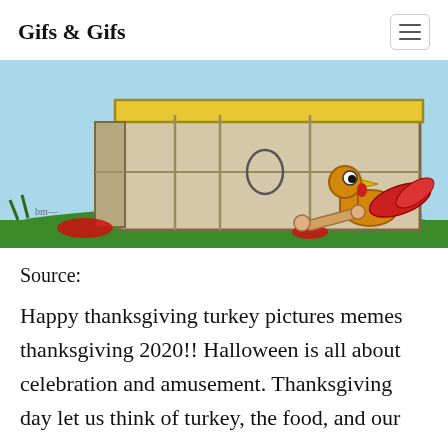Gifs & Gifs
[Figure (illustration): Cartoon illustration of a turkey hiding behind a wooden crate/box on green grass, with red spots on the ground. A turkey head with wide eyes peeks out from behind the crate holding a drumstick bone. The crate has a yellow lid and the background shows blue sky.]
Source:
Happy thanksgiving turkey pictures memes thanksgiving 2020!! Halloween is all about celebration and amusement. Thanksgiving day let us think of turkey, the food, and our